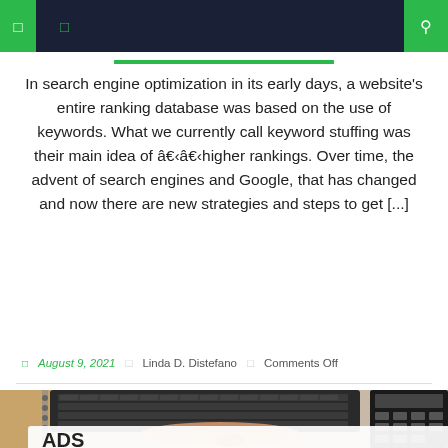Navigation bar with icons
In search engine optimization in its early days, a website's entire ranking database was based on the use of keywords. What we currently call keyword stuffing was their main idea of â€‹â€‹higher rankings. Over time, the advent of search engines and Google, that has changed and now there are new strategies and steps to get [...]
August 9, 2021  Linda D. Distefano  Comments Off
[Figure (photo): Person typing on laptop keyboard with a notebook and calculator visible, and a search bar overlay at the bottom showing 'ADS' text with a yellow search button and green circle button]